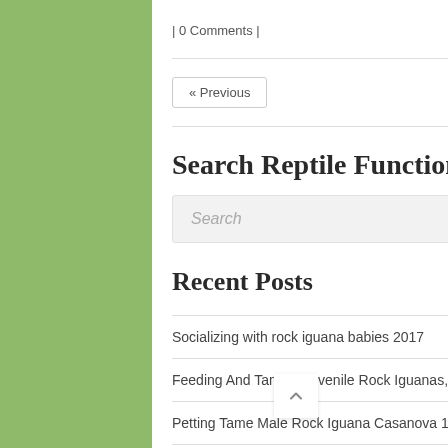| 0 Comments |
Read more
« Previous
Search Reptile Function
Search
Recent Posts
Socializing with rock iguana babies 2017
Feeding And Taming Juvenile Rock Iguanas, Tips
Petting Tame Male Rock Iguana Casanova 10-2014
Rock Iguanas Eating Birthday Fruit Salad 2014